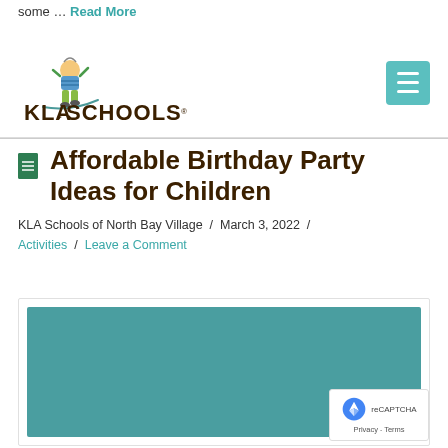some … Read More
[Figure (logo): KLA Schools logo with cartoon child figure and text 'Empowering children. Endless opportunities.']
Affordable Birthday Party Ideas for Children
KLA Schools of North Bay Village / March 3, 2022 / Activities / Leave a Comment
[Figure (photo): Teal/turquoise colored image placeholder for birthday party article]